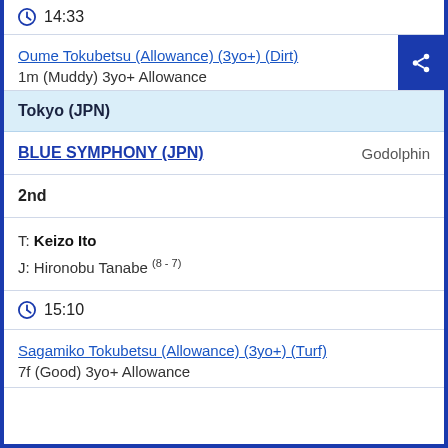14:33
Oume Tokubetsu (Allowance) (3yo+) (Dirt)
1m (Muddy) 3yo+ Allowance
Tokyo (JPN)
BLUE SYMPHONY (JPN)   Godolphin
2nd
T: Keizo Ito
J: Hironobu Tanabe (8 - 7)
15:10
Sagamiko Tokubetsu (Allowance) (3yo+) (Turf)
7f (Good) 3yo+ Allowance